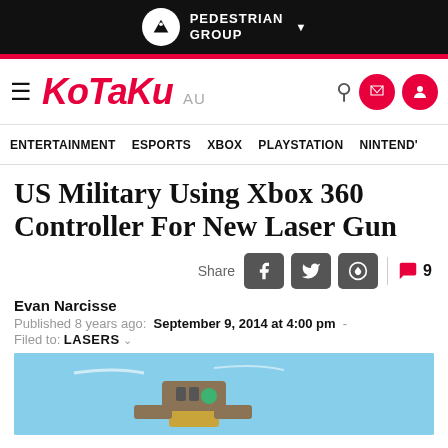PEDESTRIAN GROUP
KOTAKU AU — ENTERTAINMENT  ESPORTS  XBOX  PLAYSTATION  NINTENDO
US Military Using Xbox 360 Controller For New Laser Gun
Share
Evan Narcisse
Published 8 years ago: September 9, 2014 at 4:00 pm  -  Filed to: LASERS
[Figure (photo): Photo of a military laser weapon device mounted on a support, with a green circle visible, against a blue sky background.]